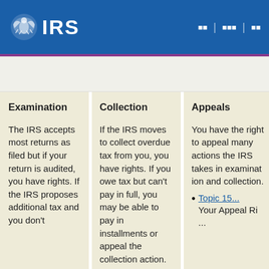IRS
Examination
The IRS accepts most returns as filed but if your return is audited, you have rights. If the IRS proposes additional tax and you don't
Collection
If the IRS moves to collect overdue tax from you, you have rights. If you owe tax but can't pay in full, you may be able to pay in installments or appeal the collection action.
Appeals
You have the right to appeal many actions the IRS takes in examination and collection.
Topic 15... Your Appeal Ri...